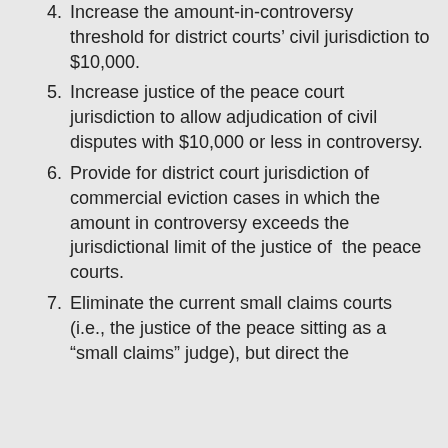4. Increase the amount-in-controversy threshold for district courts' civil jurisdiction to $10,000.
5. Increase justice of the peace court jurisdiction to allow adjudication of civil disputes with $10,000 or less in controversy.
6. Provide for district court jurisdiction of commercial eviction cases in which the amount in controversy exceeds the jurisdictional limit of the justice of the peace courts.
7. Eliminate the current small claims courts (i.e., the justice of the peace sitting as a “small claims” judge), but direct the